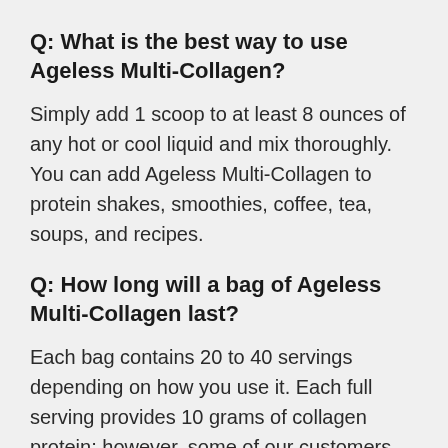Q: What is the best way to use Ageless Multi-Collagen?
Simply add 1 scoop to at least 8 ounces of any hot or cool liquid and mix thoroughly. You can add Ageless Multi-Collagen to protein shakes, smoothies, coffee, tea, soups, and recipes.
Q: How long will a bag of Ageless Multi-Collagen last?
Each bag contains 20 to 40 servings depending on how you use it. Each full serving provides 10 grams of collagen protein; however, some of our customers add half a serving (5 grams of collagen) to coffee and protein drinks for an extra boost.
Q: Does this product contain caffeine